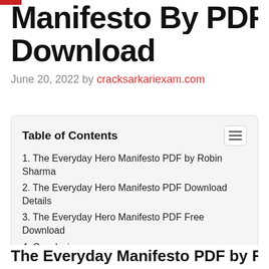Manifesto By PDF Free Download
June 20, 2022 by cracksarkariexam.com
| Table of Contents |
| --- |
| 1. The Everyday Hero Manifesto PDF by Robin Sharma |
| 2. The Everyday Hero Manifesto PDF Download Details |
| 3. The Everyday Hero Manifesto PDF Free Download |
| 4. Conclusion |
| 5. The Everyday Hero Manifesto Book Review On Youtube |
Join Telegram For PDF
The Everyday Hero Manifesto PDF by Robin